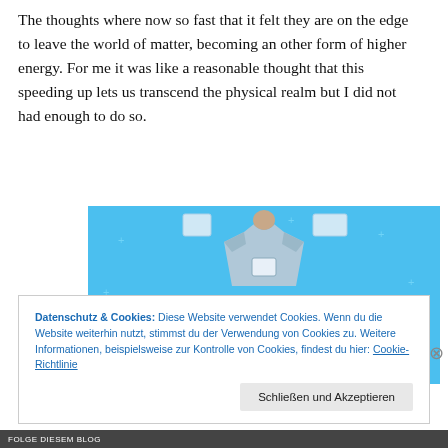The thoughts where now so fast that it felt they are on the edge to leave the world of matter, becoming an other form of higher energy. For me it was like a reasonable thought that this speeding up lets us transcend the physical realm but I did not had enough to do so.
[Figure (illustration): Day One journaling app advertisement banner with light blue background, showing a person wearing a t-shirt holding a phone, plus signs scattered around, text reading 'DAY ONE' and 'The only journaling app you'll ever need.']
Datenschutz & Cookies: Diese Website verwendet Cookies. Wenn du die Website weiterhin nutzt, stimmst du der Verwendung von Cookies zu. Weitere Informationen, beispielsweise zur Kontrolle von Cookies, findest du hier: Cookie-Richtlinie
Schließen und Akzeptieren